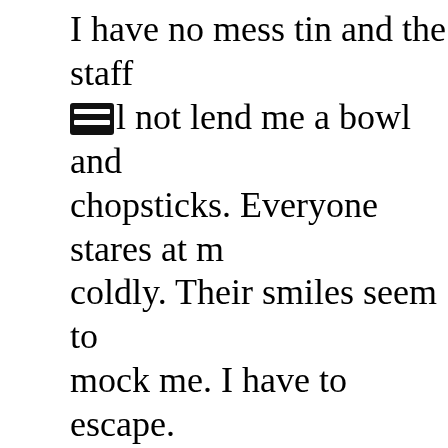I have no mess tin and the staff will not lend me a bowl and chopsticks. Everyone stares at me coldly. Their smiles seem to mock me. I have to escape.

I go looking for the commander but he is nowhere to be found. The faint yellow light from the windows of the mud buildings makes me realise how lonely an